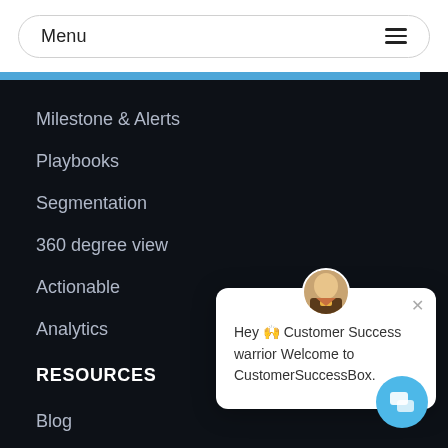Menu
Milestone & Alerts
Playbooks
Segmentation
360 degree view
Actionable
Analytics
RESOURCES
Blog
[E-book] Reduce churn in 90 days
[Ebook] Customer Success Leader's 30-60-90 Day Plan
Customer Success Glossary
COMPARE
[Figure (screenshot): Chat popup widget with avatar and welcome message: 'Hey 🙌 Customer Success warrior Welcome to CustomerSuccessBox.']